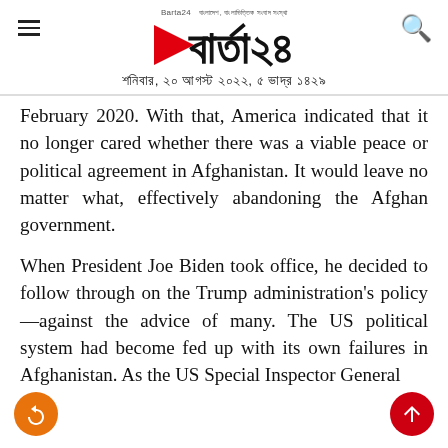Barta24 | শনিবার, ২০ আগস্ট ২০২২, ৫ ভাদ্র ১৪২৯
February 2020. With that, America indicated that it no longer cared whether there was a viable peace or political agreement in Afghanistan. It would leave no matter what, effectively abandoning the Afghan government.
When President Joe Biden took office, he decided to follow through on the Trump administration's policy—against the advice of many. The US political system had become fed up with its own failures in Afghanistan. As the US Special Inspector General